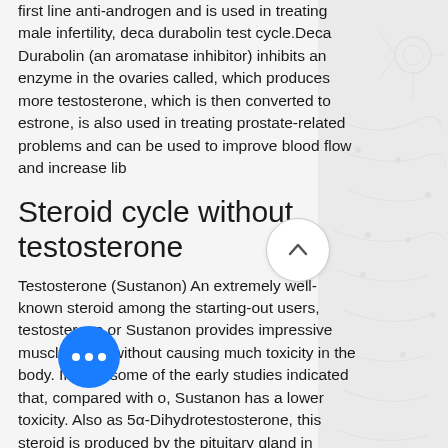first line anti-androgen and is used in treating male infertility, deca durabolin test cycle.Deca Durabolin (an aromatase inhibitor) inhibits an enzyme in the ovaries called, which produces more testosterone, which is then converted to estrone, is also used in treating prostate-related problems and can be used to improve blood flow and increase lib
Steroid cycle without testosterone
Testosterone (Sustanon) An extremely well-known steroid among the starting-out users, testosterone or Sustanon provides impressive muscle gains without causing much toxicity in the body. In fact, some of the early studies indicated that, compared with o, Sustanon has a lower toxicity. Also as 5α-Dihydrotestosterone, this steroid is produced by the pituitary gland in